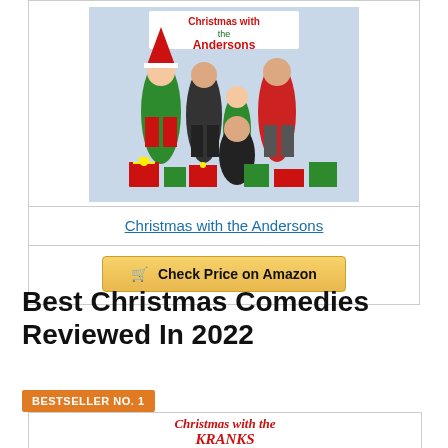[Figure (photo): Movie poster for 'Christmas with the Andersons' showing a family group with Christmas decorations, with the title text in red and green at the top]
Christmas with the Andersons
🛒 Check Price on Amazon
Best Christmas Comedies Reviewed In 2022
BESTSELLER NO. 1
[Figure (logo): Partial logo/title card for 'Christmas with the Kranks' in red stylized text]